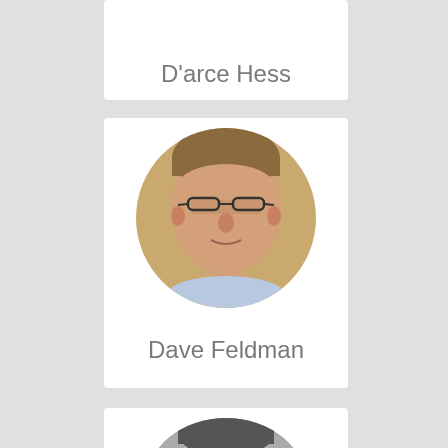D'arce Hess
[Figure (photo): Portrait photo of Dave Feldman, a man with glasses and light brown hair, shown in a circular crop with a blurred outdoor background]
Dave Feldman
[Figure (photo): Black and white portrait photo of a man with glasses and a beard, shown in a circular crop]